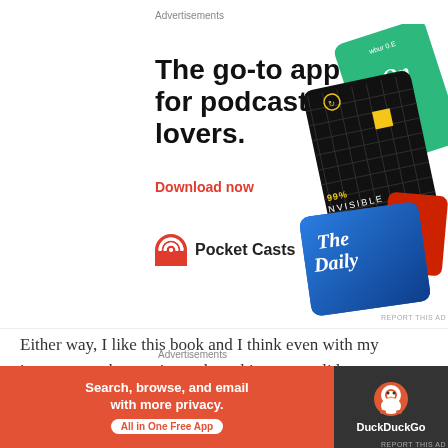Advertisements
[Figure (illustration): Pocket Casts podcast app advertisement showing headline 'The go-to app for podcast lovers.' with a red Download now CTA, app card images including 99% Invisible and The Daily, and the Pocket Casts logo]
Either way, I like this book and I think even with my ignorance to how a rig works – this was a solid fantasy book.
Advertisements
[Figure (illustration): DuckDuckGo advertisement: orange left panel with text 'Search, browse, and email with more privacy. All in One Free App' and dark right panel with DuckDuckGo logo and text 'DuckDuckGo']